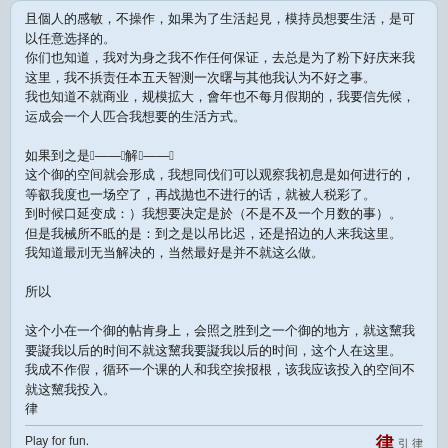[CJK text block with multiple lines of Chinese/Japanese characters]
Play for fun.
[CJK characters]
https://afdian.net/@Wubbalubbadub
Victor
Re: 2E[CJK]
[CJK]
« 回复 #6 楼: 2018-11-11, 时间 18:07:08 »
[CJK characters]